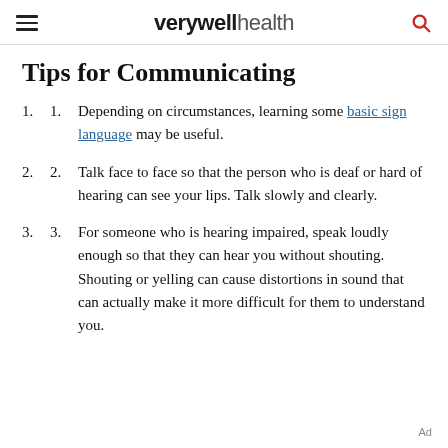verywell health
Tips for Communicating
Depending on circumstances, learning some basic sign language may be useful.
Talk face to face so that the person who is deaf or hard of hearing can see your lips. Talk slowly and clearly.
For someone who is hearing impaired, speak loudly enough so that they can hear you without shouting. Shouting or yelling can cause distortions in sound that can actually make it more difficult for them to understand you.
Ad